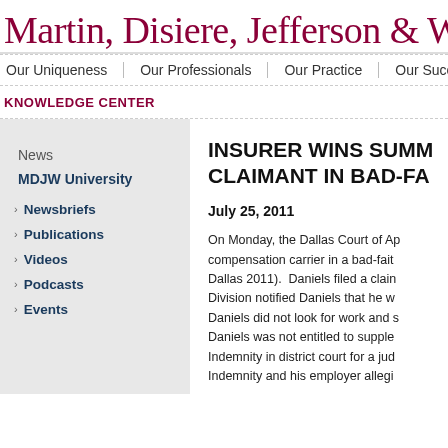Martin, Disiere, Jefferson & Wisdo
Our Uniqueness | Our Professionals | Our Practice | Our Succ
KNOWLEDGE CENTER
News
MDJW University
Newsbriefs
Publications
Videos
Podcasts
Events
INSURER WINS SUMM CLAIMANT IN BAD-FA
July 25, 2011
On Monday, the Dallas Court of Ap compensation carrier in a bad-fait Dallas 2011).  Daniels filed a clain Division notified Daniels that he w Daniels did not look for work and s Daniels was not entitled to supple Indemnity in district court for a jud Indemnity and his employer allegi